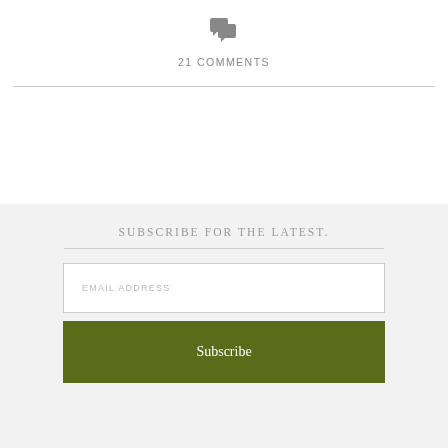[Figure (illustration): Two overlapping speech bubble / comment icons in gray]
21 COMMENTS
SUBSCRIBE FOR THE LATEST.
EMAIL ADDRESS
Subscribe